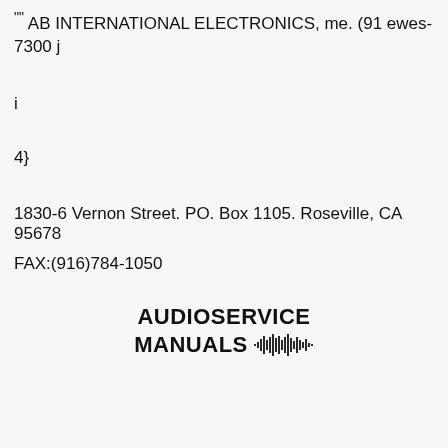"" AB INTERNATIONAL ELECTRONICS, me. (91 ewes-7300 j
i
4}
1830-6 Vernon Street. PO. Box 1105. Roseville, CA 95678
FAX:(916)784-1050
[Figure (logo): AUDIOSERVICE MANUALS logo with waveform/soundwave graphic]